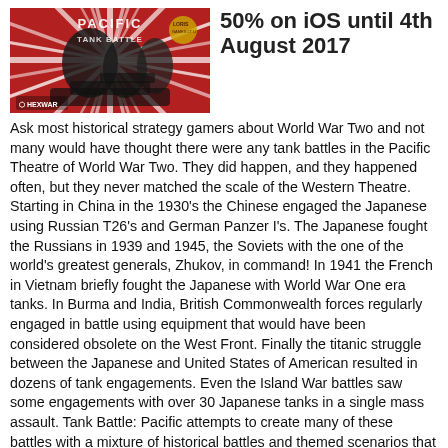[Figure (photo): Game box art for Tank Battle: Pacific — red and white sunburst background with soldiers and tank silhouettes, HexWar and Lori's logos visible]
50% on iOS until 4th August 2017
Ask most historical strategy gamers about World War Two and not many would have thought there were any tank battles in the Pacific Theatre of World War Two. They did happen, and they happened often, but they never matched the scale of the Western Theatre. Starting in China in the 1930's the Chinese engaged the Japanese using Russian T26's and German Panzer I's. The Japanese fought the Russians in 1939 and 1945, the Soviets with the one of the world's greatest generals, Zhukov, in command! In 1941 the French in Vietnam briefly fought the Japanese with World War One era tanks. In Burma and India, British Commonwealth forces regularly engaged in battle using equipment that would have been considered obsolete on the West Front. Finally the titanic struggle between the Japanese and United States of American resulted in dozens of tank engagements. Even the Island War battles saw some engagements with over 30 Japanese tanks in a single mass assault. Tank Battle: Pacific attempts to create many of these battles with a mixture of historical battles and themed scenarios that capture the experience of being a